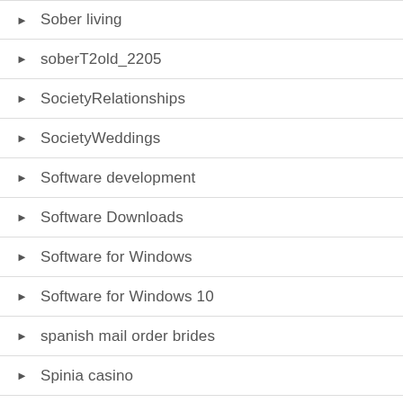Sober living
soberT2old_2205
SocietyRelationships
SocietyWeddings
Software development
Software Downloads
Software for Windows
Software for Windows 10
spanish mail order brides
Spinia casino
sport wetten